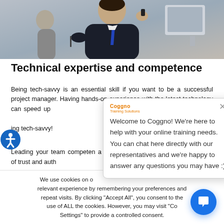[Figure (photo): Man in dark suit talking on phone, partially cropped, office background]
Technical expertise and competence
Being tech-savvy is an essential skill if you want to be a successful project manager. Having hands-on experience with the latest technology can speed up pitfalls. In the long run, you being tech-savvy!
Leading your team competently a sense of trust and authority
[Figure (screenshot): Coggno chat popup: Welcome to Coggno! We're here to help with your online training needs. You can chat here directly with our representatives and we're happy to answer any questions you may have :)]
We use cookies on our relevant experience by remembering your preferences and repeat visits. By clicking "Accept All", you consent to the use of ALL the cookies. However, you may visit "Cookie Settings" to provide a controlled consent.